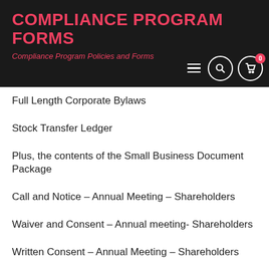COMPLIANCE PROGRAM FORMS
Compliance Program Policies and Forms
Full Length Corporate Bylaws
Stock Transfer Ledger
Plus, the contents of the Small Business Document Package
Call and Notice – Annual Meeting – Shareholders
Waiver and Consent – Annual meeting- Shareholders
Written Consent – Annual Meeting – Shareholders
Meeting Script – Annual Meeting – Shareholders